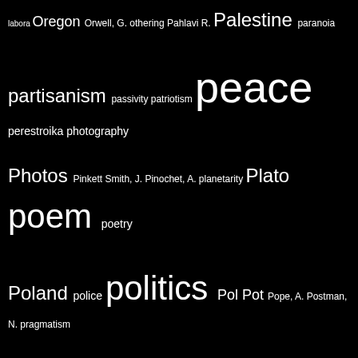[Figure (other): Word cloud on black background showing terms related to politics, society, and culture. Larger words include: peace, poem, politics, Putin V., racism, religion, Russia, science, social justice, social media, socialism. Smaller terms include: labora, Oregon, Orwell G., othering, Pahlavi R., Palestine, paranoia, partisanism, passivity, patriotism, perestroika, photography, Photos, Pinkett Smith J., Pinochet A., planetarity, Plato, poetry, Poland, police, Pol Pot, Pope A., Postman N., pragmatism, privilege, propaganda, psychology, public sphere, puritanism, purpose, Q (Star Trek), Rabin Y., race, Randi J., Rawls J., recognition, refugees, Reichsbürger, Republican Party, responsibility, rhetorics, Riefenstahl L., right, Rock C., Rome, Ruge A., Rushdie S., Rwanda, Sadat A., Sagan C., Sallust C. (Gaius Sallustius Crispus), sanctions, savior complex, Schmitt C., Schröder G., Schulze K., Second LIfe, Serrano A., sex, Shakespeare, Shermer M., shock, silence, sin, site policy, Skinner B.F., Slavery, Smith W., social construction, Social Democracy, Socrates, soft power, Solidarity movement, Sontag S., South, Soviet Union]